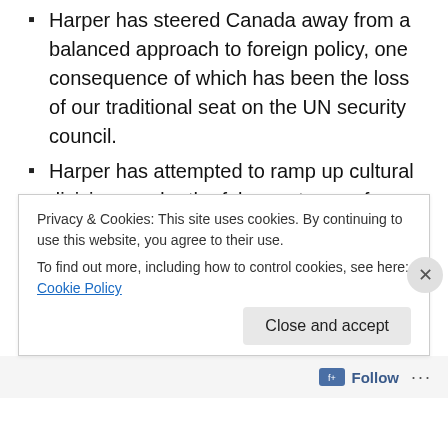Harper has steered Canada away from a balanced approach to foreign policy, one consequence of which has been the loss of our traditional seat on the UN security council.
Harper has attempted to ramp up cultural divisions under the false pretense of increasing our safety and security.
Harper has pushed the limits of our constitution and laws, repeatedly losing challenges to the supreme court.
These are only a few items on a very long list, but in short
Privacy & Cookies: This site uses cookies. By continuing to use this website, you agree to their use. To find out more, including how to control cookies, see here: Cookie Policy